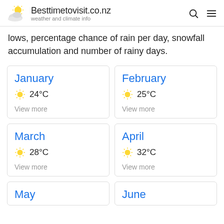Besttimetovisit.co.nz — weather and climate info
lows, percentage chance of rain per day, snowfall accumulation and number of rainy days.
January 24°C View more
February 25°C View more
March 28°C View more
April 32°C View more
May
June